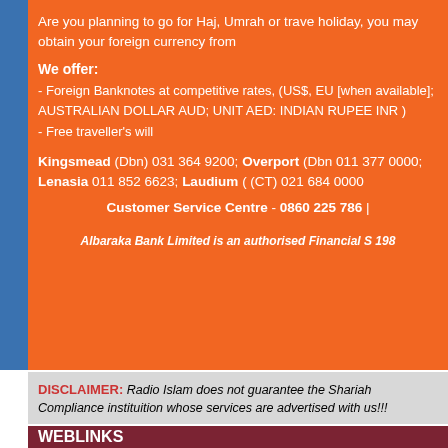Are you planning to go for Haj, Umrah or travel for a holiday, you may obtain your foreign currency from us.
We offer:
- Foreign Banknotes at competitive rates, (US$, EU [when available]; AUSTRALIAN DOLLAR AUD; UNIT AED: INDIAN RUPEE INR )
- Free traveller's will
Kingsmead (Dbn) 031 364 9200; Overport (Dbn) 011 377 0000; Lenasia 011 852 6623; Laudium (CT) 021 684 0000
Customer Service Centre - 0860 225 786 |
Albaraka Bank Limited is an authorised Financial S... 198...
DISCLAIMER: Radio Islam does not guarantee the Shariah Compliance of any instituition whose services are advertised with us!!!
WEBLINKS